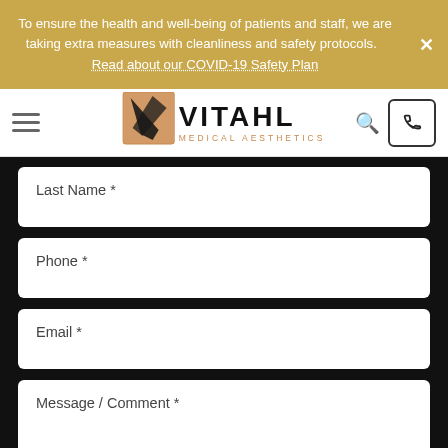To ensure the health and well-being of patients and staff, we are taking extra measures with cleanliness and safety protocols.   Read about our COVID-19 Safety Plan
[Figure (logo): Vitahl Medical Aesthetics logo with brush-stroke graphic and text]
Last Name *
Phone *
Email *
Message / Comment *